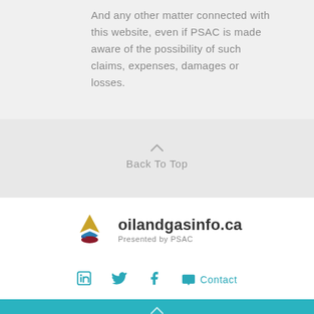And any other matter connected with this website, even if PSAC is made aware of the possibility of such claims, expenses, damages or losses.
Back To Top
[Figure (logo): oilandgasinfo.ca logo with PSAC flame/drop symbol. Text: oilandgasinfo.ca, Presented by PSAC]
Contact